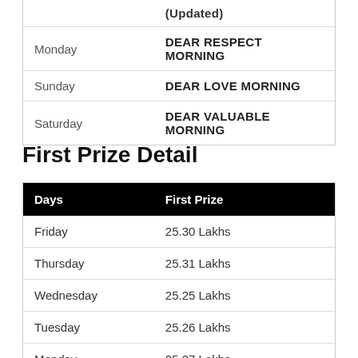|  | (Updated) |
| --- | --- |
| Monday | DEAR RESPECT MORNING |
| Sunday | DEAR LOVE MORNING |
| Saturday | DEAR VALUABLE MORNING |
First Prize Detail
| Days | First Prize |
| --- | --- |
| Friday | 25.30 Lakhs |
| Thursday | 25.31 Lakhs |
| Wednesday | 25.25 Lakhs |
| Tuesday | 25.26 Lakhs |
| Monday | 25.27 Lakhs |